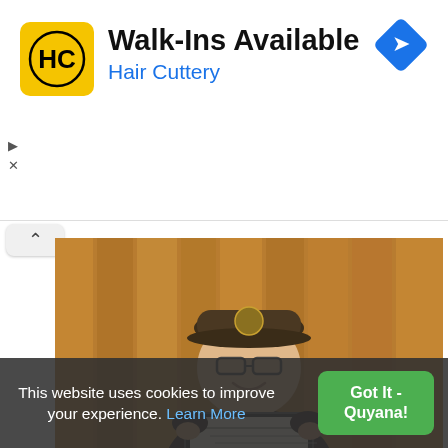[Figure (other): Hair Cuttery advertisement banner with logo (yellow square with HC letters), text 'Walk-Ins Available' and 'Hair Cuttery' in blue, and a blue navigation diamond icon on the right]
[Figure (photo): A young person wearing a camouflage baseball cap and glasses, smiling, holding a framed certificate/award, standing in front of a wood-paneled wall]
This website uses cookies to improve your experience. Learn More
Got It - Quyana!